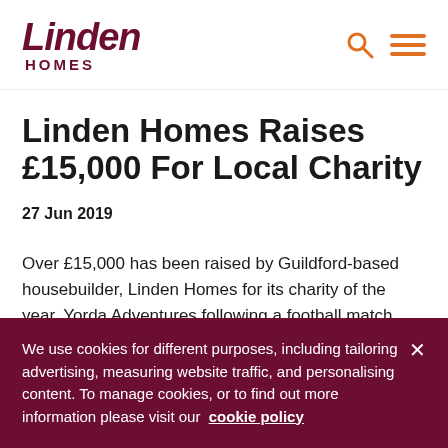Linden Homes
Linden Homes Raises £15,000 For Local Charity
27 Jun 2019
Over £15,000 has been raised by Guildford-based housebuilder, Linden Homes for its charity of the year, Yorda Adventures following a football match event, raffle and auction.
We use cookies for different purposes, including tailoring advertising, measuring website traffic, and personalising content. To manage cookies, or to find out more information please visit our cookie policy